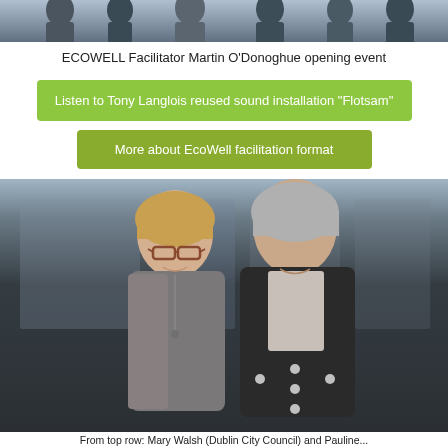[Figure (photo): Top portion of a group photo showing several people standing together at an event]
ECOWELL Facilitator Martin O'Donoghue opening event
Listen to Tony Langlois reused sound installation "Flotsam"
More about EcoWell facilitation format
[Figure (photo): Two women smiling and posing together at an indoor event venue with large windows in the background]
From top row: Mary Walsh (Dublin City Council) and Pauline...